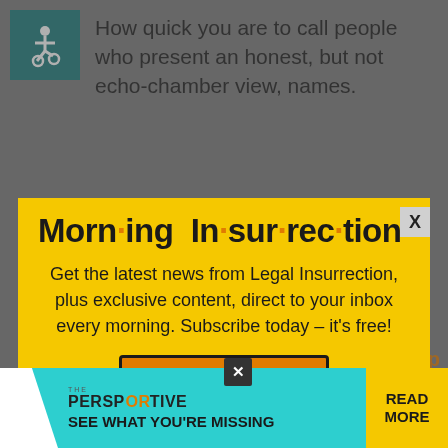[Figure (illustration): Accessibility icon - white wheelchair symbol on teal/dark cyan background square]
How quick you are to call people who present an honest, but not echo-chamber view, names.
Did me or moth say anything to hurt
[Figure (infographic): Yellow modal popup for Morning Insurrection newsletter signup with orange dot accents in title, body text, and JOIN NOW button]
Morn·ing In·sur·rec·tion
Get the latest news from Legal Insurrection, plus exclusive content, direct to your inbox every morning. Subscribe today – it's free!
JOIN NOW
"concern troll" don't know whether it's possible for other
[Figure (infographic): Bottom banner ad: THE PERSPECTIVE - SEE WHAT YOU'RE MISSING with READ MORE button on yellow background]